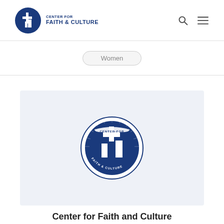[Figure (logo): Center for Faith & Culture circular logo in navy blue with cross and building icon, shown in page header]
CENTER FOR FAITH & CULTURE
Women
[Figure (logo): Center for Faith & Culture large circular seal/badge in navy blue with cross and building icon, text reading CENTER FOR FAITH & CULTURE around the border]
Center for Faith and Culture